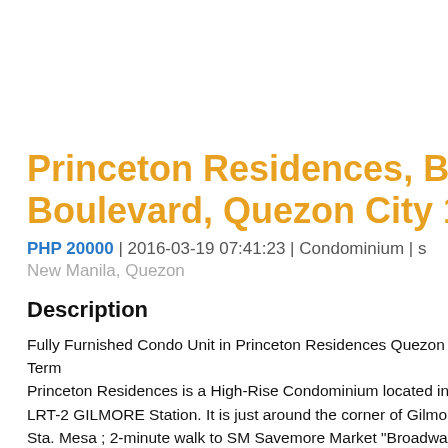Princeton Residences, Barangay V Boulevard, Quezon City 1112
PHP 20000 | 2016-03-19 07:41:23 | Condominium | s
New Manila, Quezon
Description
Fully Furnished Condo Unit in Princeton Residences Quezon City For Re... Term
Princeton Residences is a High-Rise Condominium located in Aurora Boul... LRT-2 GILMORE Station. It is just around the corner of Gilmore IT Center... Sta. Mesa ; 2-minute walk to SM Savemore Market "Broadway Centrum",... Family Mart, Sykes are just around the corner. There's a 7-Eleven (24-hour...
The unit is located on the 34th floor with 23.47 square meters. From this u...